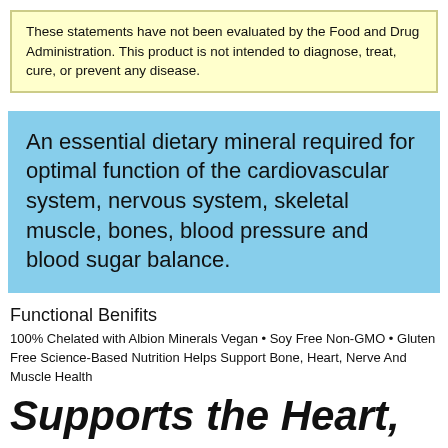These statements have not been evaluated by the Food and Drug Administration. This product is not intended to diagnose, treat, cure, or prevent any disease.
An essential dietary mineral required for optimal function of the cardiovascular system, nervous system, skeletal muscle, bones, blood pressure and blood sugar balance.
Functional Benifits
100% Chelated with Albion Minerals Vegan • Soy Free Non-GMO • Gluten Free Science-Based Nutrition Helps Support Bone, Heart, Nerve And Muscle Health
Supports the Heart,